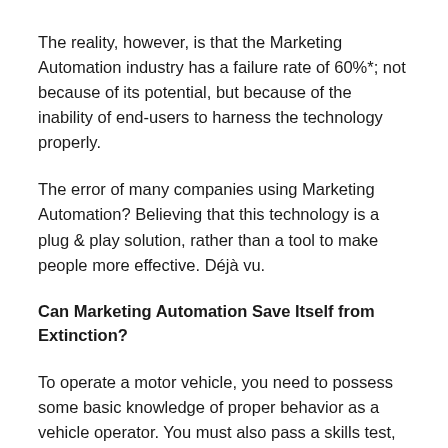The reality, however, is that the Marketing Automation industry has a failure rate of 60%*; not because of its potential, but because of the inability of end-users to harness the technology properly.
The error of many companies using Marketing Automation? Believing that this technology is a plug & play solution, rather than a tool to make people more effective. Déjà vu.
Can Marketing Automation Save Itself from Extinction?
To operate a motor vehicle, you need to possess some basic knowledge of proper behavior as a vehicle operator. You must also pass a skills test, to demonstrate your ability to apply the rules of the road; to use the technology